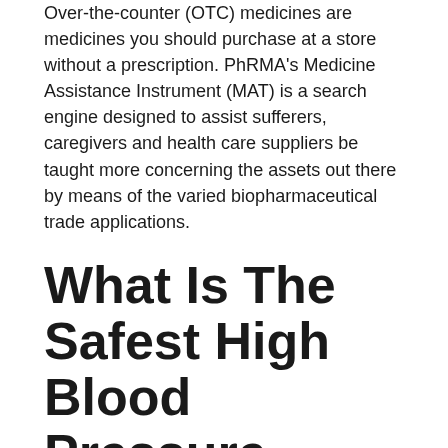Over-the-counter (OTC) medicines are medicines you should purchase at a store without a prescription. PhRMA's Medicine Assistance Instrument (MAT) is a search engine designed to assist sufferers, caregivers and health care suppliers be taught more concerning the assets out there by means of the varied biopharmaceutical trade applications.
What Is The Safest High Blood Pressure Treatment?
Sports activities medicine doctors are medical practitioners, who are inclined to athletes and gamers. The mission of the University of Illinois Faculty of Medicine is to enhance the well being of the residents of